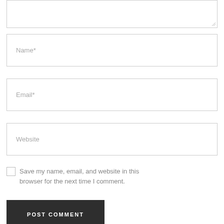[Figure (screenshot): Textarea input field (top, partially visible) with resize handle at bottom-right]
Name*
Email*
Website
Save my name, email, and website in this browser for the next time I comment.
POST COMMENT